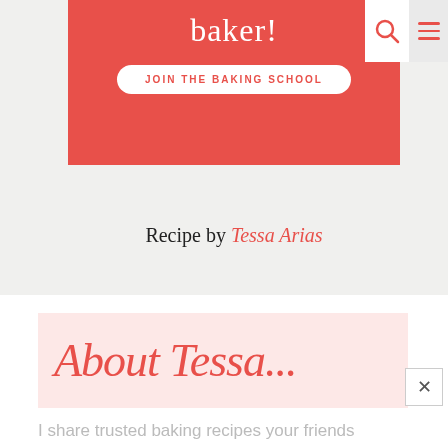[Figure (screenshot): Red banner with 'baker!' title and 'JOIN THE BAKING SCHOOL' button, with search and hamburger menu icons]
Recipe by Tessa Arias
[Figure (illustration): Pink background section with cursive 'About Tessa...' text in coral/red]
I share trusted baking recipes your friends will LOVE alongside insights into the